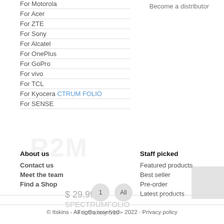Become a distributor
For Motorola
For Acer
For ZTE
For Sony
For Alcatel
For OnePlus
For GoPro
For vivo
For TCL
For Kyocera
For SENSE
About us
Contact us
Meet the team
Find a Shop
Staff picked
Featured products
Best seller
Pre-order
Latest products
© Itskins - All rigths reserved - 2022 · Privacy policy